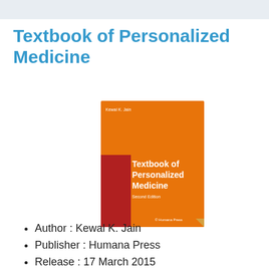Textbook of Personalized Medicine
[Figure (photo): Book cover of 'Textbook of Personalized Medicine, Second Edition' by Kewal K. Jain, published by Humana Press. Orange cover with red accent stripe and white text.]
Author : Kewal K. Jain
Publisher : Humana Press
Release : 17 March 2015